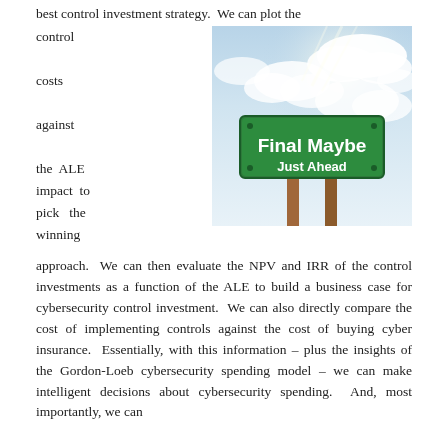best control investment strategy.  We can plot the control costs against the ALE impact to pick the winning approach.  We can then evaluate the NPV and IRR of the control investments as a function of the ALE to build a business case for cybersecurity control investment.  We can also directly compare the cost of implementing controls against the cost of buying cyber insurance.  Essentially, with this information – plus the insights of the Gordon-Loeb cybersecurity spending model – we can make intelligent decisions about cybersecurity spending.  And, most importantly, we can
[Figure (photo): A green road sign reading 'Final Maybe Just Ahead' against a blue cloudy sky, mounted on two wooden posts.]